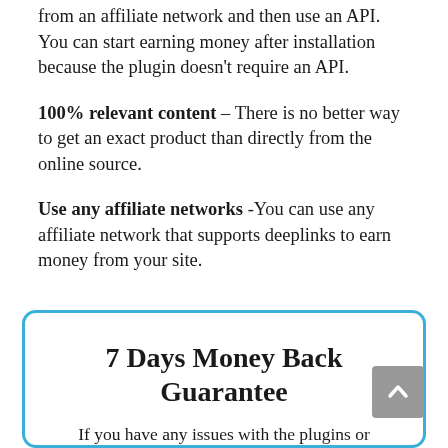from an affiliate network and then use an API. You can start earning money after installation because the plugin doesn't require an API.
100% relevant content – There is no better way to get an exact product than directly from the online source.
Use any affiliate networks -You can use any affiliate network that supports deeplinks to earn money from your site.
7 Days Money Back Guarantee
If you have any issues with the plugins or themes then we will offer a 100%